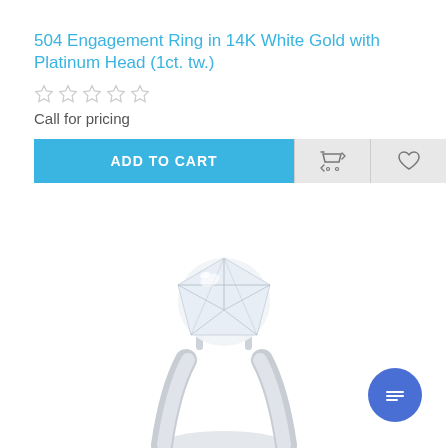504 Engagement Ring in 14K White Gold with Platinum Head (1ct. tw.)
[Figure (other): Five empty star rating icons in a row]
Call for pricing
[Figure (other): Add to cart button (blue), compare icon button (gray), heart/wishlist icon button (gray)]
[Figure (photo): Close-up photo of a diamond solitaire engagement ring with round brilliant cut diamond in a prong setting on a white gold or platinum band]
[Figure (other): Blue circular chat/messaging button with white lines icon]